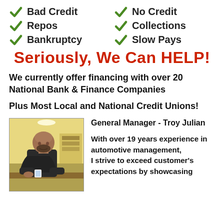✓ Bad Credit
✓ Repos
✓ Bankruptcy
✓ No Credit
✓ Collections
✓ Slow Pays
Seriously, We Can HELP!
We currently offer financing with over 20 National Bank & Finance Companies
Plus Most Local and National Credit Unions!
General Manager - Troy Julian
With over 19 years experience in automotive management, I strive to exceed customer's expectations by showcasing